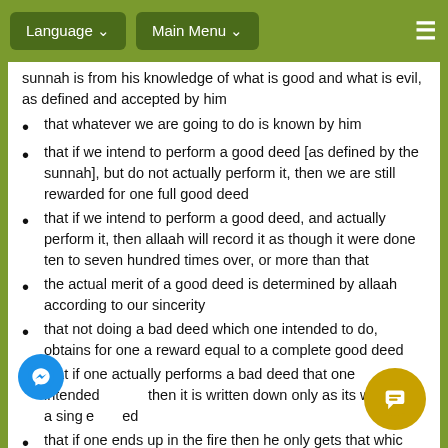Language ▾   Main Menu ▾   ≡
sunnah is from his knowledge of what is good and what is evil, as defined and accepted by him
that whatever we are going to do is known by him
that if we intend to perform a good deed [as defined by the sunnah], but do not actually perform it, then we are still rewarded for one full good deed
that if we intend to perform a good deed, and actually perform it, then allaah will record it as though it were done ten to seven hundred times over, or more than that
the actual merit of a good deed is determined by allaah according to our sincerity
that not doing a bad deed which one intended to do, obtains for one a reward equal to a complete good deed
that if one actually performs a bad deed that one intended then it is written down only as its worth, ie a single deed
that if one ends up in the fire then he only gets that which he deserves and no more ie he is not wronged